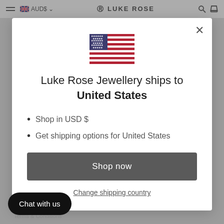AUD$ — LUKE ROSE
[Figure (screenshot): US flag emoji rendered as inline image in modal dialog]
Luke Rose Jewellery ships to United States
Shop in USD $
Get shipping options for United States
Shop now
Change shipping country
Chat with us
Terms & Conditions